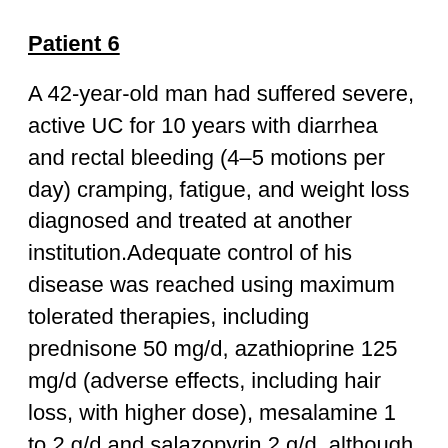Patient 6
A 42-year-old man had suffered severe, active UC for 10 years with diarrhea and rectal bleeding (4–5 motions per day) cramping, fatigue, and weight loss diagnosed and treated at another institution.Adequate control of his disease was reached using maximum tolerated therapies, including prednisone 50 mg/d, azathioprine 125 mg/d (adverse effects, including hair loss, with higher dose), mesalamine 1 to 2 g/d and salazopyrin 2 g/d, although he desired to use an alternate approach with few or no drugs. Colitis to mid-sigmoid was re-confirmed on colonoscopy and histology as active, chronic colitis. Prior to HPI, prednisone was withdrawn step-wise to zero at 10 mg per week, while azathioprine and mesalamine were continued.
HPI consisted of 5 consecutive daily infusions and